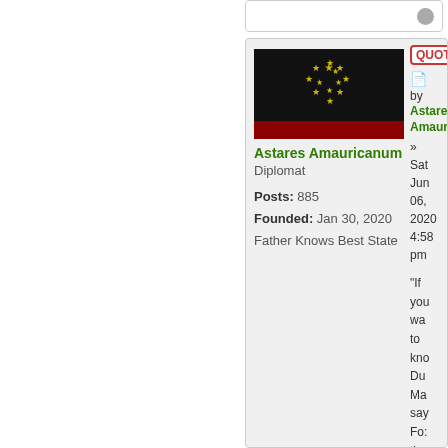[Figure (screenshot): Forum post with user profile on left and post content on right. User avatar is a flag (black background with gold/yellow stars in a circle and red stripe). Username is Astares Amauricanum, Diplomat. Posts: 885, Founded: Jan 30, 2020, Father Knows Best State. Right panel shows QUOTE button, post date Sat Jun 06, 2020 4:58 pm, and post body starting with 'If you want to know Du Ma say Fo: the cho bel to the']